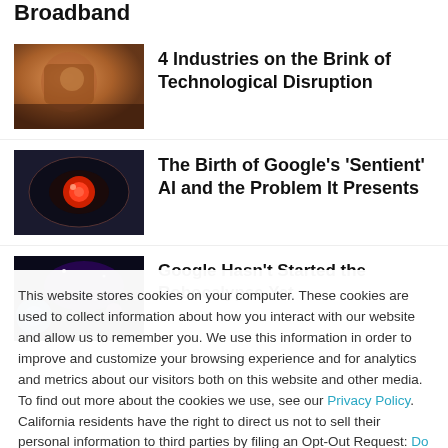Broadband
[Figure (photo): Robot or mechanical figure with orange tones]
4 Industries on the Brink of Technological Disruption
[Figure (photo): Close-up of a glowing red eye, possibly robotic or animal]
The Birth of Google's 'Sentient' AI and the Problem It Presents
[Figure (photo): Space or sci-fi themed image with colorful nebula tones]
Google Hasn't Started the Robocalypse Yet
This website stores cookies on your computer. These cookies are used to collect information about how you interact with our website and allow us to remember you. We use this information in order to improve and customize your browsing experience and for analytics and metrics about our visitors both on this website and other media. To find out more about the cookies we use, see our Privacy Policy. California residents have the right to direct us not to sell their personal information to third parties by filing an Opt-Out Request: Do Not Sell My Personal Info.
Accept